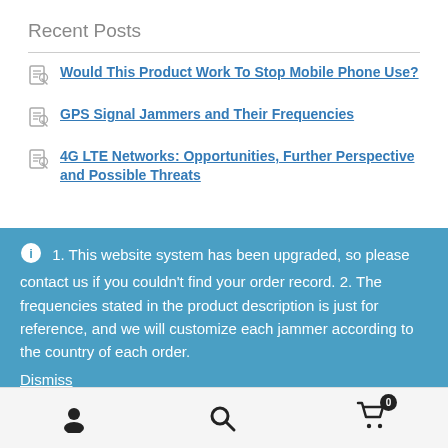Recent Posts
Would This Product Work To Stop Mobile Phone Use?
GPS Signal Jammers and Their Frequencies
4G LTE Networks: Opportunities, Further Perspective and Possible Threats
1. This website system has been upgraded, so please contact us if you couldn't find your order record. 2. The frequencies stated in the product description is just for reference, and we will customize each jammer according to the country of each order.
Dismiss
[User icon] [Search icon] [Cart icon with badge 0]